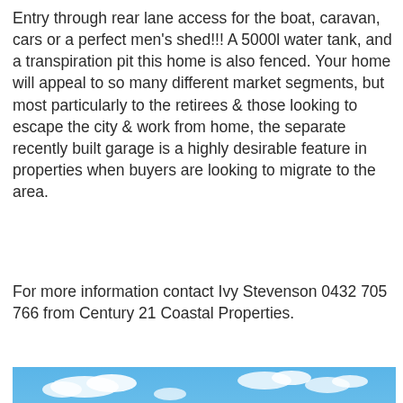Entry through rear lane access for the boat, caravan, cars or a perfect men's shed!!! A 5000l water tank, and a transpiration pit this home is also fenced. Your home will appeal to so many different market segments, but most particularly to the retirees & those looking to escape the city & work from home, the separate recently built garage is a highly desirable feature in properties when buyers are looking to migrate to the area.
For more information contact Ivy Stevenson 0432 705 766 from Century 21 Coastal Properties.
[Figure (photo): Coastal harbour scene with turquoise water, tree-covered hills on left and right, small island in background, sailboats visible, blue sky with white clouds]